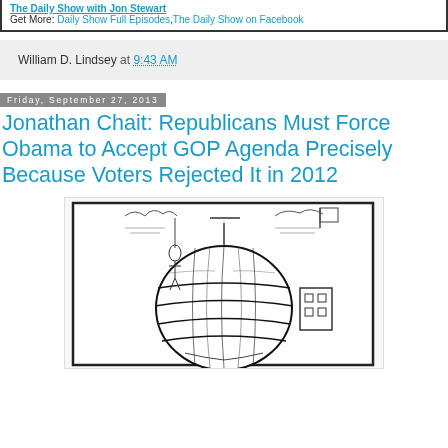The Daily Show with Jon Stewart
Get More: Daily Show Full Episodes, The Daily Show on Facebook
William D. Lindsey at 9:43 AM
Friday, September 27, 2013
Jonathan Chait: Republicans Must Force Obama to Accept GOP Agenda Precisely Because Voters Rejected It in 2012
[Figure (illustration): Black and white woodcut-style illustration of a globe or spherical object with horizontal bands, with small figures or objects attached to it, reminiscent of a vintage engraving.]